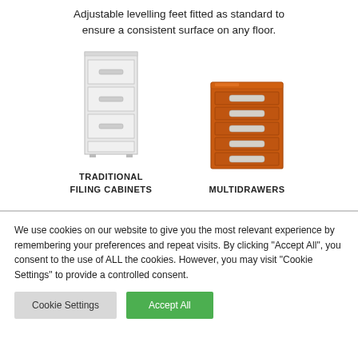Adjustable levelling feet fitted as standard to ensure a consistent surface on any floor.
[Figure (illustration): White traditional filing cabinet with 4 drawers]
TRADITIONAL FILING CABINETS
[Figure (illustration): Orange multidrawer cabinet with 5 drawers and label holders]
MULTIDRAWERS
We use cookies on our website to give you the most relevant experience by remembering your preferences and repeat visits. By clicking "Accept All", you consent to the use of ALL the cookies. However, you may visit "Cookie Settings" to provide a controlled consent.
Cookie Settings
Accept All